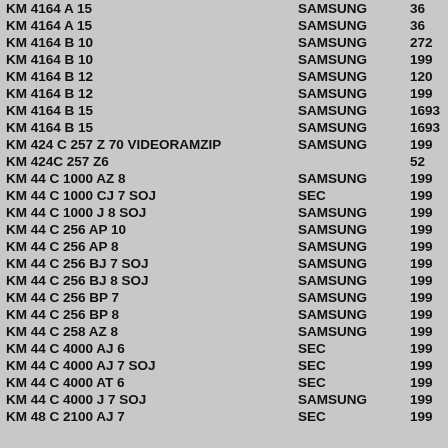| Product | Brand | Value |
| --- | --- | --- |
| KM 4164 A 15 | SAMSUNG | 36 |
| KM 4164 A 15 | SAMSUNG | 36 |
| KM 4164 B 10 | SAMSUNG | 272 |
| KM 4164 B 10 | SAMSUNG | 199 |
| KM 4164 B 12 | SAMSUNG | 120 |
| KM 4164 B 12 | SAMSUNG | 199 |
| KM 4164 B 15 | SAMSUNG | 1693 |
| KM 4164 B 15 | SAMSUNG | 1693 |
| KM 424 C 257 Z 70 VIDEORAMZIP | SAMSUNG | 199 |
| KM 424C 257 Z6 |  | 52 |
| KM 44 C 1000 AZ 8 | SAMSUNG | 199 |
| KM 44 C 1000 CJ 7 SOJ | SEC | 199 |
| KM 44 C 1000 J 8 SOJ | SAMSUNG | 199 |
| KM 44 C 256 AP 10 | SAMSUNG | 199 |
| KM 44 C 256 AP 8 | SAMSUNG | 199 |
| KM 44 C 256 BJ 7 SOJ | SAMSUNG | 199 |
| KM 44 C 256 BJ 8 SOJ | SAMSUNG | 199 |
| KM 44 C 256 BP 7 | SAMSUNG | 199 |
| KM 44 C 256 BP 8 | SAMSUNG | 199 |
| KM 44 C 258 AZ 8 | SAMSUNG | 199 |
| KM 44 C 4000 AJ 6 | SEC | 199 |
| KM 44 C 4000 AJ 7 SOJ | SEC | 199 |
| KM 44 C 4000 AT 6 | SEC | 199 |
| KM 44 C 4000 J 7 SOJ | SAMSUNG | 199 |
| KM 48 C 2100 AJ 7 | SEC | 199 |